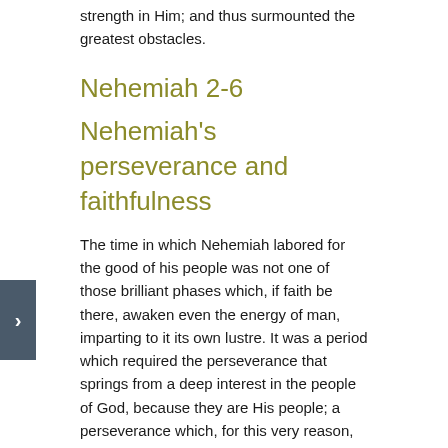strength in Him; and thus surmounted the greatest obstacles.
Nehemiah 2-6
Nehemiah's perseverance and faithfulness
The time in which Nehemiah labored for the good of his people was not one of those brilliant phases which, if faith be there, awaken even the energy of man, imparting to it its own lustre. It was a period which required the perseverance that springs from a deep interest in the people of God, because they are His people; a perseverance which, for this very reason, pursues its object in spite of the contempt excited by the work, apparently so insignificant, but which is not the less the work of God; and which pursues it in spite of the hatred and opposition of enemies, and the faintheartedness of fellow-laborers (ch. 4:8,10-11); a